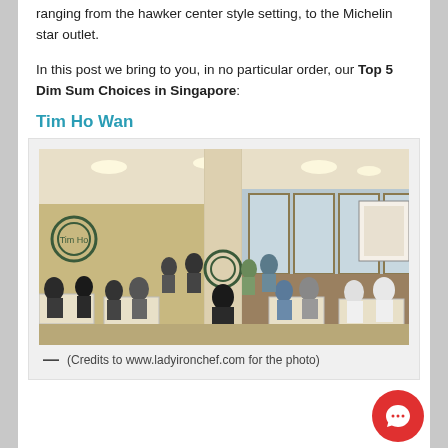ranging from the hawker center style setting, to the Michelin star outlet.
In this post we bring to you, in no particular order, our Top 5 Dim Sum Choices in Singapore:
Tim Ho Wan
[Figure (photo): Interior of Tim Ho Wan restaurant, crowded with diners seated at tables, restaurant branding visible on walls]
— (Credits to www.ladyironchef.com for the photo)